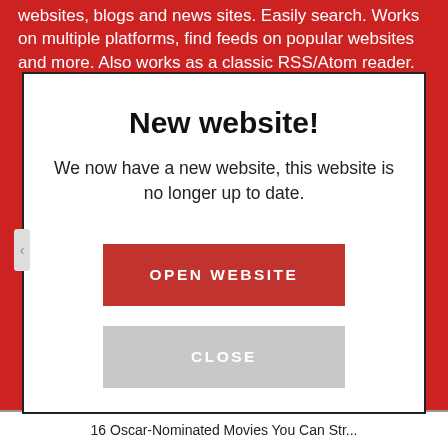websites, blogs and news sites. Easily search. Works on multiple platforms, find feeds on popular websites and more. Also works as a classic RSS/Atom reader.
New website!
We now have a new website, this website is no longer up to date.
OPEN WEBSITE
CLOSE
16 Oscar-Nominated Movies You Can Str...